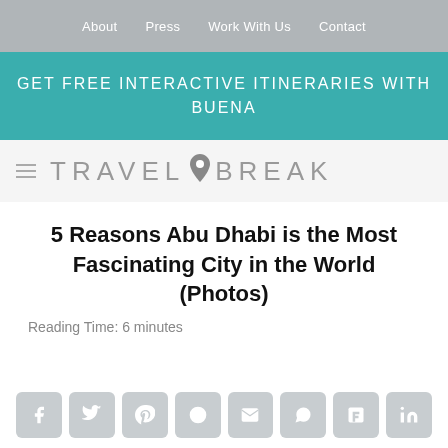About   Press   Work With Us   Contact
GET FREE INTERACTIVE ITINERARIES WITH BUENA
[Figure (logo): Travel Break logo with location pin icon and hamburger menu icon]
5 Reasons Abu Dhabi is the Most Fascinating City in the World (Photos)
Reading Time: 6 minutes